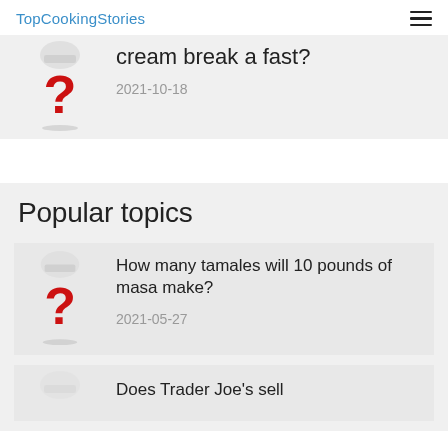TopCookingStories
cream break a fast?
2021-10-18
Popular topics
How many tamales will 10 pounds of masa make?
2021-05-27
Does Trader Joe's sell